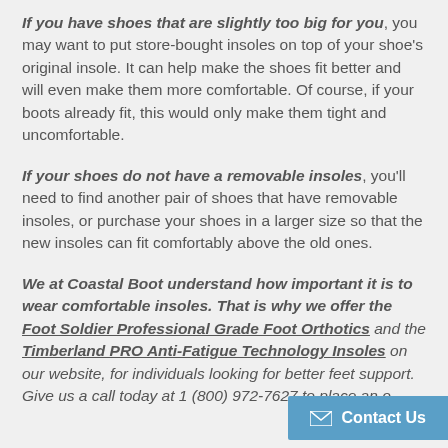If you have shoes that are slightly too big for you, you may want to put store-bought insoles on top of your shoe's original insole. It can help make the shoes fit better and will even make them more comfortable. Of course, if your boots already fit, this would only make them tight and uncomfortable.
If your shoes do not have a removable insoles, you'll need to find another pair of shoes that have removable insoles, or purchase your shoes in a larger size so that the new insoles can fit comfortably above the old ones.
We at Coastal Boot understand how important it is to wear comfortable insoles. That is why we offer the Foot Soldier Professional Grade Foot Orthotics and the Timberland PRO Anti-Fatigue Technology Insoles on our website, for individuals looking for better feet support. Give us a call today at 1 (800) 972-7627 to place an o...